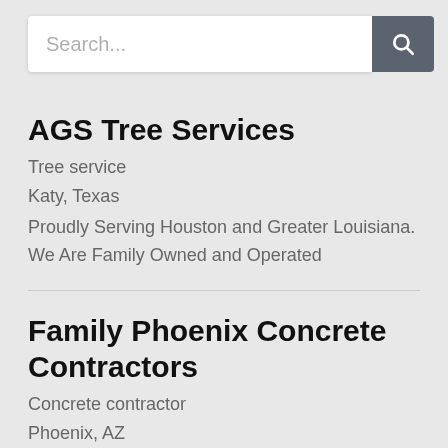[Figure (screenshot): Search bar with text input placeholder 'Search...' and a dark grey search button with magnifying glass icon]
AGS Tree Services
Tree service
Katy, Texas
Proudly Serving Houston and Greater Louisiana. We Are Family Owned and Operated
Family Phoenix Concrete Contractors
Concrete contractor
Phoenix, AZ